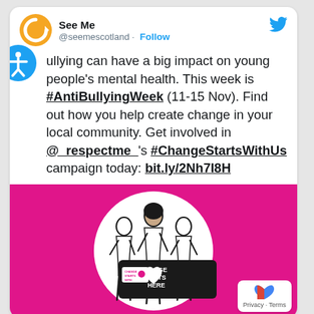[Figure (logo): See Me Scotland orange circular logo with white arrow/C shape]
See Me
@seemescotland · Follow
Bullying can have a big impact on young people's mental health. This week is #AntiBullyingWeek (11-15 Nov). Find out how you help create change in your local community. Get involved in @_respectme_'s #ChangeStartsWithUs campaign today: bit.ly/2Nh7I8H
[Figure (illustration): Pink background with white circle containing three illustrated people holding a banner that reads 'CHANGE STARTS HERE', with a smaller 'Change Starts With' logo on the banner]